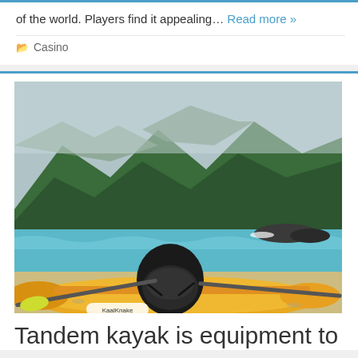of the world. Players find it appealing… Read more »
Casino
[Figure (photo): Yellow tandem kayak with black seat on a sandy beach, turquoise water and green forested mountains in the background. Brand mark visible on the kayak hull.]
Tandem kayak is equipment to